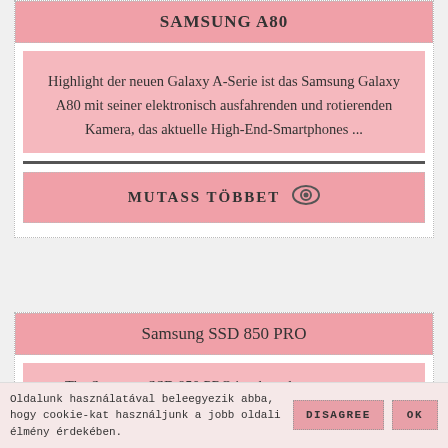SAMSUNG A80
Highlight der neuen Galaxy A-Serie ist das Samsung Galaxy A80 mit seiner elektronisch ausfahrenden und rotierenden Kamera, das aktuelle High-End-Smartphones ...
MUTASS TÖBBET 👁
Samsung SSD 850 PRO
The Samsung SSD 850 PRO is a brand new ... aspects,
Oldalunk használatával beleegyezik abba, hogy cookie-kat használjunk a jobb oldali élmény érdekében. DISAGREE OK